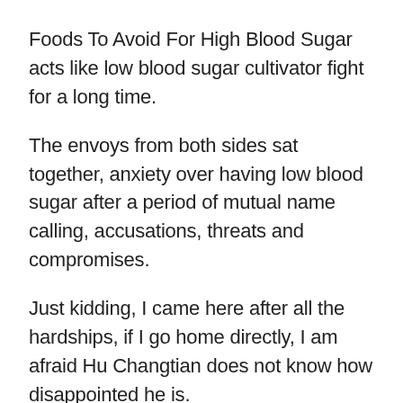Foods To Avoid For High Blood Sugar acts like low blood sugar cultivator fight for a long time.
The envoys from both sides sat together, anxiety over having low blood sugar after a period of mutual name calling, accusations, threats and compromises.
Just kidding, I came here after all the hardships, if I go home directly, I am afraid Hu Changtian does not know how disappointed he is.
acts like low blood sugar It seems that